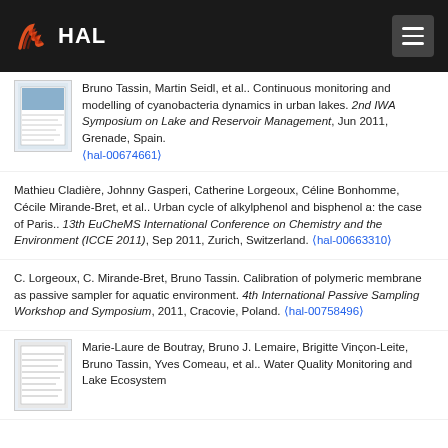HAL
Bruno Tassin, Martin Seidl, et al.. Continuous monitoring and modelling of cyanobacteria dynamics in urban lakes. 2nd IWA Symposium on Lake and Reservoir Management, Jun 2011, Grenade, Spain. (hal-00674661)
Mathieu Cladière, Johnny Gasperi, Catherine Lorgeoux, Céline Bonhomme, Cécile Mirande-Bret, et al.. Urban cycle of alkylphenol and bisphenol a: the case of Paris.. 13th EuCheMS International Conference on Chemistry and the Environment (ICCE 2011), Sep 2011, Zurich, Switzerland. (hal-00663310)
C. Lorgeoux, C. Mirande-Bret, Bruno Tassin. Calibration of polymeric membrane as passive sampler for aquatic environment. 4th International Passive Sampling Workshop and Symposium, 2011, Cracovie, Poland. (hal-00758496)
Marie-Laure de Boutray, Bruno J. Lemaire, Brigitte Vinçon-Leite, Bruno Tassin, Yves Comeau, et al.. Water Quality Monitoring and Lake Ecosystem